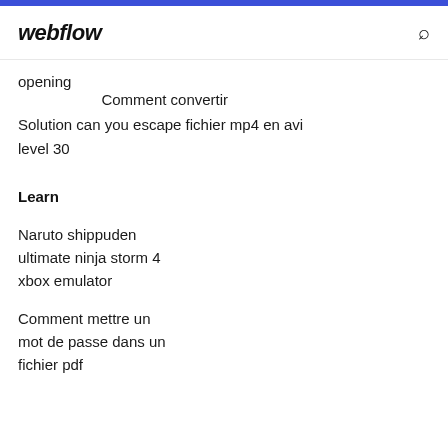webflow
opening
Comment convertir
Solution can you escape fichier mp4 en avi level 30
Learn
Naruto shippuden ultimate ninja storm 4 xbox emulator
Comment mettre un mot de passe dans un fichier pdf